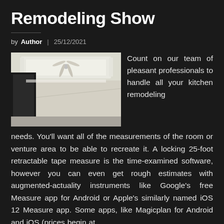Remodeling Show
by Author | 25/12/2021
[Figure (photo): Interior room photo showing a modern living/dining area with a ceiling fan, recessed lighting, and white walls]
Count on our team of pleasant professionals to handle all your kitchen remodeling needs. You'll want all of the measurements of the room or venture area to be able to recreate it. A locking 25-foot retractable tape measure is the time-examined software, however you can even get rough estimates with augmented-actuality instruments like Google's free Measure app for Android or Apple's similarly named iOS 12 Measure app. Some apps, like Magicplan for Android and iOS (prices begin at can do both the measurements and put collectively a ground